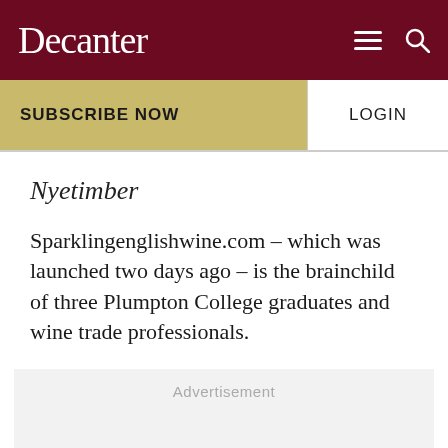Decanter
SUBSCRIBE NOW
LOGIN
Nyetimber
Sparklingenglishwine.com – which was launched two days ago – is the brainchild of three Plumpton College graduates and wine trade professionals.
Advertisement